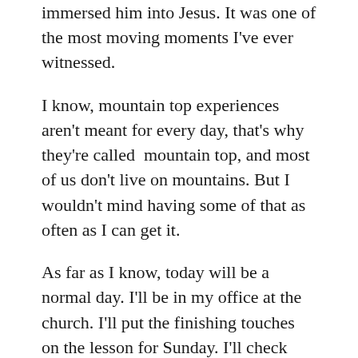immersed him into Jesus. It was one of the most moving moments I've ever witnessed.
I know, mountain top experiences aren't meant for every day, that's why they're called mountain top, and most of us don't live on mountains. But I wouldn't mind having some of that as often as I can get it.
As far as I know, today will be a normal day. I'll be in my office at the church. I'll put the finishing touches on the lesson for Sunday. I'll check with staff members and review whatever needs reviewing. It'll be a regular day, but my soul will be on fire and my heart filled with joy.